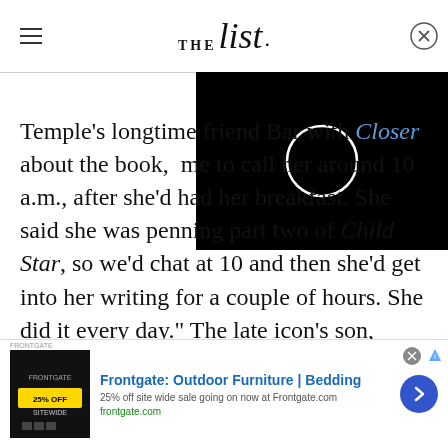THE list
[Figure (screenshot): Black video player overlay with a white circle/loading spinner in the center, and an X close button in the top-right corner]
Temple's longtime friend Bar[bara] with Closer about the book, [she told] me to call her around 10 a.m., after she'd had her breakfast. She said she was penning part two of Child Star, so we'd chat at 10 and then she'd get into her writing for a couple of hours. She did it every day." The late icon's son, Charles Black Jr., told Closer that the deeply personal memoir will be released at some point
[Figure (screenshot): Advertisement banner for Frontgate: Outdoor Furniture | Bedding. 25% off site wide sale going on now at Frontgate.com. frontgate.com. Shows a dark product image on the left and a blue arrow button on the right.]